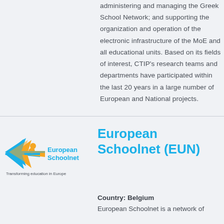administering and managing the Greek School Network; and supporting the organization and operation of the electronic infrastructure of the MoE and all educational units. Based on its fields of interest, CTIP's research teams and departments have participated within the last 20 years in a large number of European and National projects.
[Figure (logo): European Schoolnet logo with star/arrow graphic, text 'European Schoolnet' and tagline 'Transforming education in Europe']
European Schoolnet (EUN)
Country: Belgium
European Schoolnet is a network of